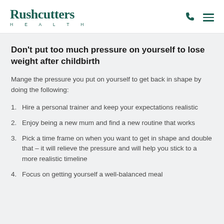Rushcutters HEALTH
Don't put too much pressure on yourself to lose weight after childbirth
Mange the pressure you put on yourself to get back in shape by doing the following:
Hire a personal trainer and keep your expectations realistic
Enjoy being a new mum and find a new routine that works
Pick a time frame on when you want to get in shape and double that – it will relieve the pressure and will help you stick to a more realistic timeline
Focus on getting yourself a well-balanced meal